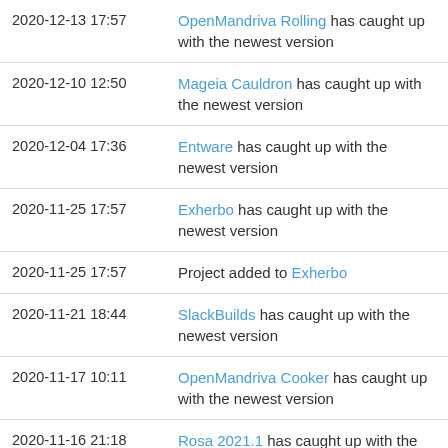| Date | Event |
| --- | --- |
| 2020-12-13 17:57 | OpenMandriva Rolling has caught up with the newest version |
| 2020-12-10 12:50 | Mageia Cauldron has caught up with the newest version |
| 2020-12-04 17:36 | Entware has caught up with the newest version |
| 2020-11-25 17:57 | Exherbo has caught up with the newest version |
| 2020-11-25 17:57 | Project added to Exherbo |
| 2020-11-21 18:44 | SlackBuilds has caught up with the newest version |
| 2020-11-17 10:11 | OpenMandriva Cooker has caught up with the newest version |
| 2020-11-16 21:18 | Rosa 2021.1 has caught up with the newest version |
| 2020-11-16 15:35 | Parrot has caught up with the newest version |